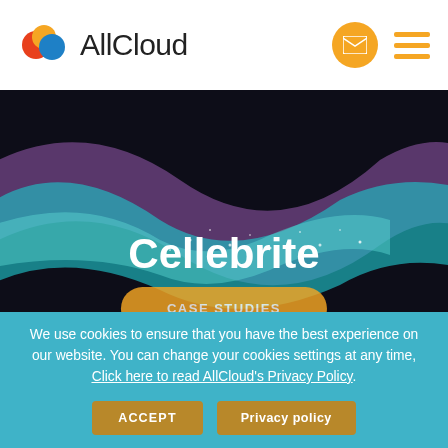AllCloud
[Figure (illustration): Abstract digital wave artwork with teal, purple, and dark background colors, serving as hero banner image for Cellebrite case study page]
Cellebrite
CASE STUDIES
We use cookies to ensure that you have the best experience on our website. You can change your cookies settings at any time, Click here to read AllCloud's Privacy Policy.
ACCEPT
Privacy policy